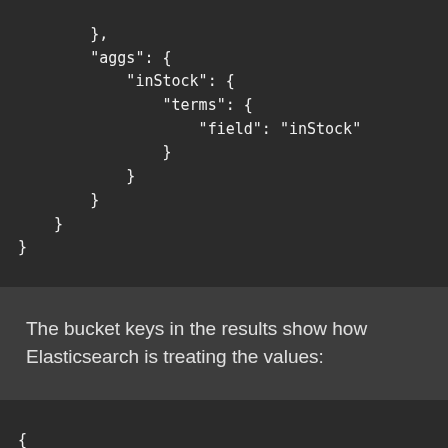},
"aggs": {
    "inStock": {
        "terms": {
            "field": "inStock"
        }
    }
}
}
The bucket keys in the results show how Elasticsearch is treating the values:
{
    "aggregations" : {
        "categories" : {